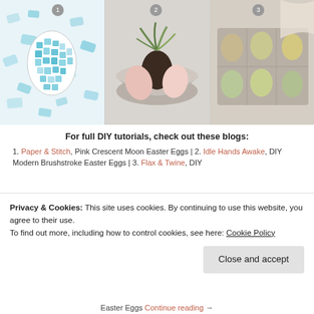[Figure (photo): Three photos of decorated Easter eggs: left shows a teal mosaic-style egg on a white background, center shows colorful painted eggs in a white bowl with air plants, right shows natural-dyed eggs in an egg carton with a linen cloth.]
For full DIY tutorials, check out these blogs:
1. Paper & Stitch, Pink Crescent Moon Easter Eggs | 2. Idle Hands Awake, DIY Modern Brushstroke Easter Eggs | 3. Flax & Twine, DIY
Privacy & Cookies: This site uses cookies. By continuing to use this website, you agree to their use.
To find out more, including how to control cookies, see here: Cookie Policy
Close and accept
Easter Eggs Continue reading →